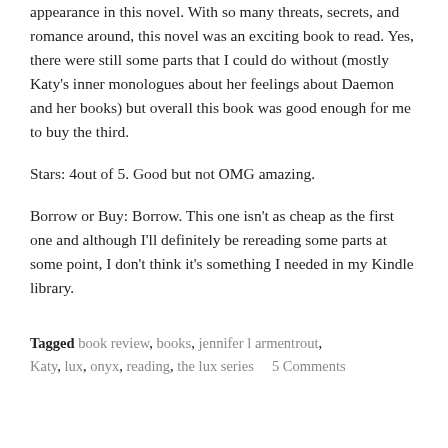appearance in this novel. With so many threats, secrets, and romance around, this novel was an exciting book to read. Yes, there were still some parts that I could do without (mostly Katy's inner monologues about her feelings about Daemon and her books) but overall this book was good enough for me to buy the third.
Stars: 4out of 5. Good but not OMG amazing.
Borrow or Buy: Borrow. This one isn't as cheap as the first one and although I'll definitely be rereading some parts at some point, I don't think it's something I needed in my Kindle library.
Tagged book review, books, jennifer l armentrout, Katy, lux, onyx, reading, the lux series     5 Comments